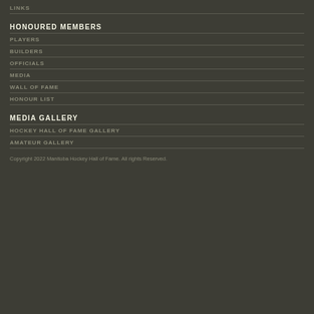LINKS
HONOURED MEMBERS
PLAYERS
BUILDERS
OFFICIALS
MEDIA
WALL OF FAME
HONOUR LIST
MEDIA GALLERY
HOCKEY HALL OF FAME GALLERY
AMATEUR GALLERY
Copyright 2022 Manitoba Hockey Hall of Fame. All rights Reserved.